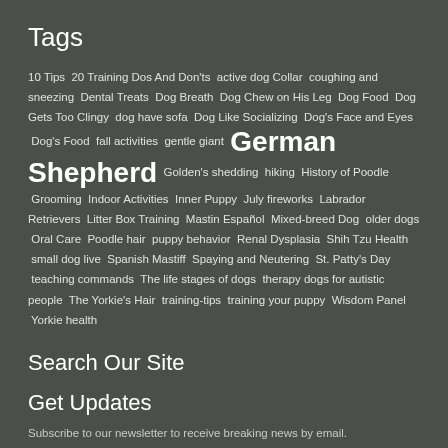Tags
10 Tips 20 Training Dos And Don'ts active dog Collar coughing and sneezing Dental Treats Dog Breath Dog Chew on His Leg Dog Food Dog Gets Too Clingy dog have sofa Dog Like Socializing Dog's Face and Eyes Dog's Food fall activities gentle giant German Shepherd Golden's shedding hiking History of Poodle Grooming Indoor Activities Inner Puppy July fireworks Labrador Retrievers Litter Box Training Mastin Español Mixed-breed Dog older dogs Oral Care Poodle hair puppy behavior Renal Dysplasia Shih Tzu Health small dog live Spanish Mastiff Spaying and Neutering St. Patty's Day teaching commands The life stages of dogs therapy dogs for autistic people The Yorkie's Hair training-tips training your puppy Wisdom Panel Yorkie health
Search Our Site
Get Updates
Subscribe to our newsletter to receive breaking news by email.